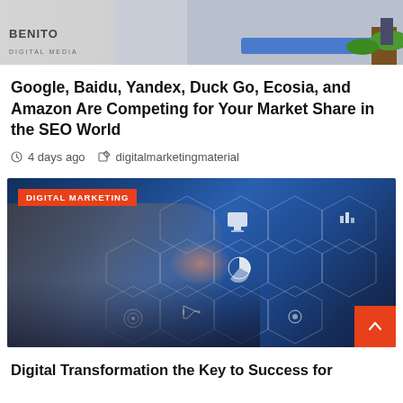[Figure (illustration): Top banner image showing a cartoon/illustration of a person using a laptop, with 'BENITO DIGITAL MEDIA' logo in the lower left.]
Google, Baidu, Yandex, Duck Go, Ecosia, and Amazon Are Competing for Your Market Share in the SEO World
4 days ago   digitalmarketingmaterial
[Figure (photo): Photo of hands typing on a laptop keyboard with digital marketing hexagonal icons overlay (pie chart, monitor, megaphone, target, gear, people icons). 'DIGITAL MARKETING' badge in top-left corner. Orange scroll-to-top button in bottom-right corner.]
Digital Transformation the Key to Success for